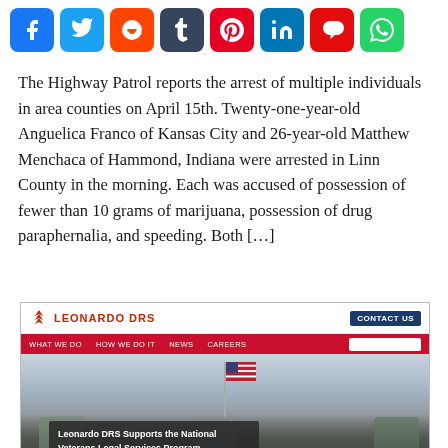[Figure (screenshot): Social media sharing buttons row: Facebook (blue), Twitter (blue), Reddit (orange), Tumblr (dark blue), Pinterest (red), LinkedIn (blue), Parler (red), WhatsApp (green)]
The Highway Patrol reports the arrest of multiple individuals in area counties on April 15th. Twenty-one-year-old Anguelica Franco of Kansas City and 26-year-old Matthew Menchaca of Hammond, Indiana were arrested in Linn County in the morning. Each was accused of possession of fewer than 10 grams of marijuana, possession of drug paraphernalia, and speeding. Both […]
[Figure (screenshot): Screenshot of Leonardo DRS website homepage showing the Leonardo DRS logo in red, a Contact Us button in navy blue, a red navigation bar, and a hero image of soldiers saluting an American flag with a dark overlay caption reading 'Leonardo DRS Supports the National Veterans Legal Services Program']